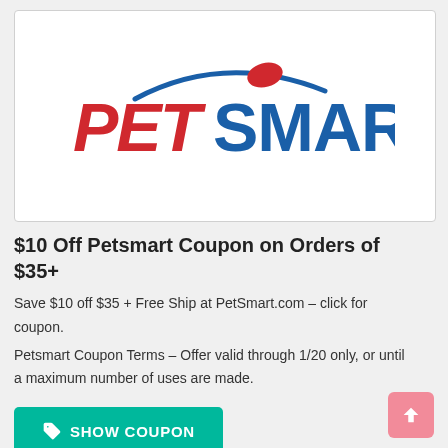[Figure (logo): PetSmart logo — red italic 'PET' text, blue bold 'SMART' text, blue arc above, red oval/ball above the S]
$10 Off Petsmart Coupon on Orders of $35+
Save $10 off $35 + Free Ship at PetSmart.com – click for coupon.
Petsmart Coupon Terms – Offer valid through 1/20 only, or until a maximum number of uses are made.
SHOW COUPON